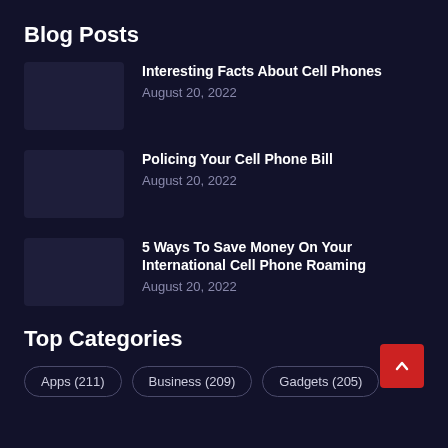Blog Posts
Interesting Facts About Cell Phones
August 20, 2022
Policing Your Cell Phone Bill
August 20, 2022
5 Ways To Save Money On Your International Cell Phone Roaming
August 20, 2022
Top Categories
Apps (211)
Business (209)
Gadgets (205)